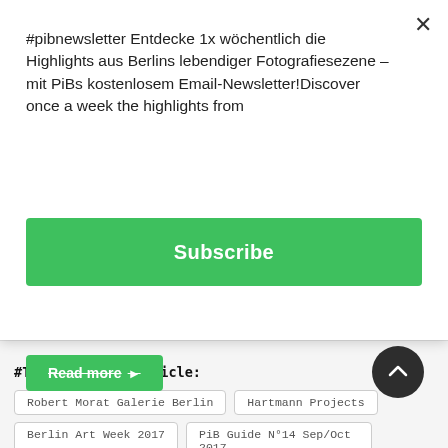#pibnewsletter Entdecke 1x wöchentlich die Highlights aus Berlins lebendiger Fotografiesezene – mit PiBs kostenlosem Email-Newsletter!Discover once a week the highlights from
Subscribe
Read more ▶
#Tags for this article:
Robert Morat Galerie Berlin
Hartmann Projects
Berlin Art Week 2017
PiB Guide N°14 Sep/Oct 2017